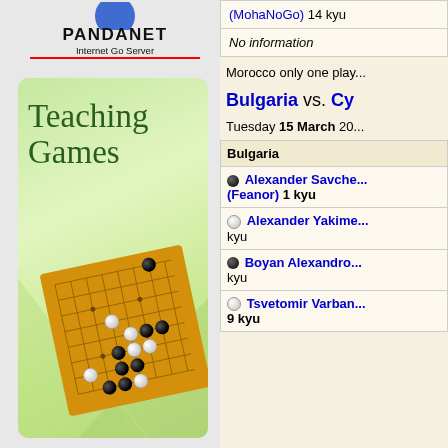[Figure (illustration): Pandanet Internet Go Server logo with 'Teaching Games' text and a Go board illustration on a green gradient background card]
| (MohaNoGo) 14 kyu |
| No information |
Morocco only one play...
Bulgaria vs. Cy...
Tuesday 15 March 20...
| Bulgaria |
| --- |
| ● Alexander Savche... (Feanor) 1 kyu |
| ○ Alexander Yakime... kyu |
| ● Boyan Alexandro... kyu |
| ○ Tsvetomir Varban... 9 kyu |